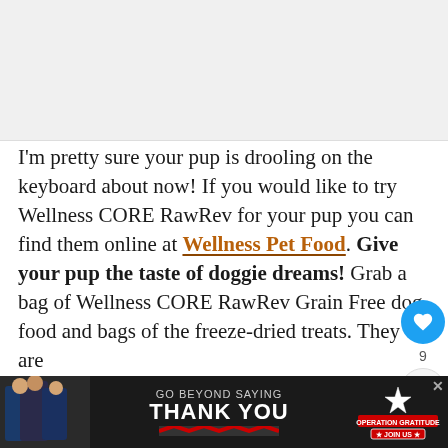[Figure (photo): Placeholder image area at top of page, light gray background]
I'm pretty sure your pup is drooling on the keyboard about now! If you would like to try Wellness CORE RawRev for your pup you can find them online at Wellness Pet Food. Give your pup the taste of doggie dreams! Grab a bag of Wellness CORE RawRev Grain Free dog food and bags of the freeze-dried treats. They are s...
[Figure (screenshot): WHAT'S NEXT arrow label with Wellness CORE RawR... thumbnail]
[Figure (infographic): GO BEYOND SAYING THANK YOU - OPERATION GRATITUDE JOIN US advertisement banner at bottom]